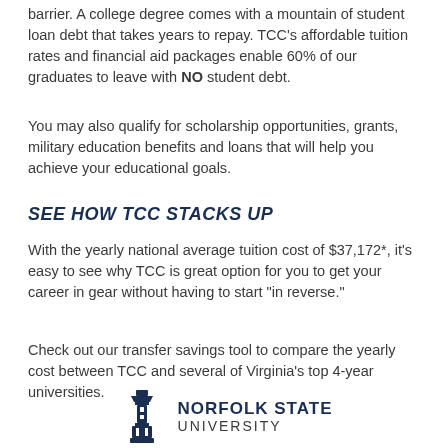barrier. A college degree comes with a mountain of student loan debt that takes years to repay. TCC's affordable tuition rates and financial aid packages enable 60% of our graduates to leave with NO student debt.
You may also qualify for scholarship opportunities, grants, military education benefits and loans that will help you achieve your educational goals.
SEE HOW TCC STACKS UP
With the yearly national average tuition cost of $37,172*, it's easy to see why TCC is great option for you to get your career in gear without having to start “in reverse.”
Check out our transfer savings tool to compare the yearly cost between TCC and several of Virginia’s top 4-year universities.
[Figure (logo): Norfolk State University logo with lighthouse icon and text NORFOLK STATE UNIVERSITY]